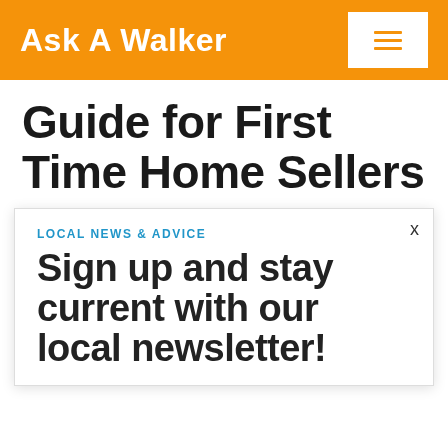Ask A Walker
Guide for First Time Home Sellers
LOCAL NEWS & ADVICE
Sign up and stay current with our local newsletter!
If you are a first time home seller, you probably don't know much about the process, buying a home doesn't teach you everything you need to know about selling. While there are countless classes, videos, and online articles with helpful tips